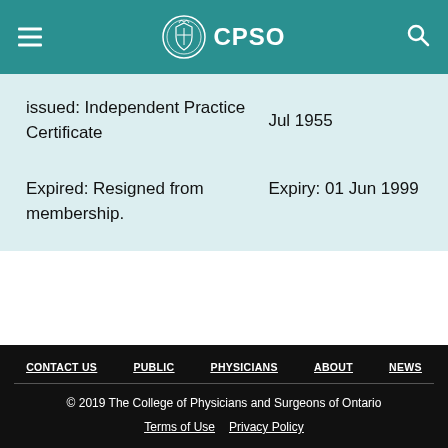CPSO
| issued: Independent Practice Certificate | Jul 1955 |
| Expired: Resigned from membership. | Expiry: 01 Jun 1999 |
CONTACT US  PUBLIC  PHYSICIANS  ABOUT  NEWS
© 2019 The College of Physicians and Surgeons of Ontario
Terms of Use  Privacy Policy